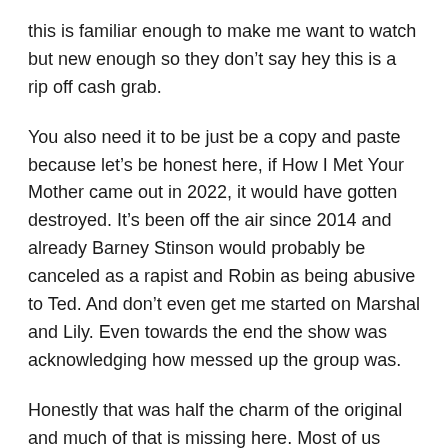this is familiar enough to make me want to watch but new enough so they don't say hey this is a rip off cash grab.
You also need it to be just be a copy and paste because let's be honest here, if How I Met Your Mother came out in 2022, it would have gotten destroyed. It's been off the air since 2014 and already Barney Stinson would probably be canceled as a rapist and Robin as being abusive to Ted. And don't even get me started on Marshal and Lily. Even towards the end the show was acknowledging how messed up the group was.
Honestly that was half the charm of the original and much of that is missing here. Most of us knew a